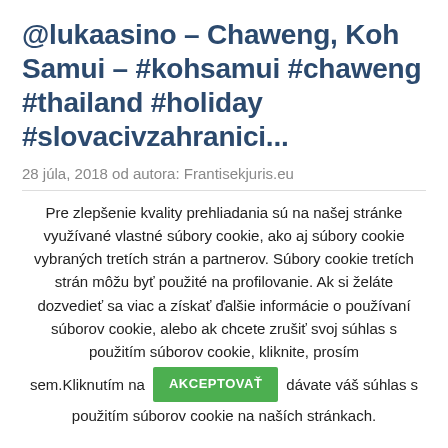@lukaasino – Chaweng, Koh Samui – #kohsamui #chaweng #thailand #holiday #slovacivzahranici...
28 júla, 2018 od autora: Frantisekjuris.eu
Pre zlepšenie kvality prehliadania sú na našej stránke využívané vlastné súbory cookie, ako aj súbory cookie vybraných tretích strán a partnerov. Súbory cookie tretích strán môžu byť použité na profilovanie. Ak si želáte dozvedieť sa viac a získať ďalšie informácie o používaní súborov cookie, alebo ak chcete zrušiť svoj súhlas s použitím súborov cookie, kliknite, prosím sem.Kliknutím na AKCEPTOVAŤ dávate váš súhlas s použitím súborov cookie na naších stránkach.